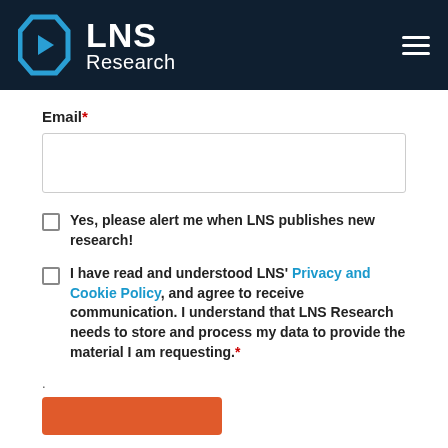LNS Research
Email*
Yes, please alert me when LNS publishes new research!
I have read and understood LNS' Privacy and Cookie Policy, and agree to receive communication. I understand that LNS Research needs to store and process my data to provide the material I am requesting.*
.